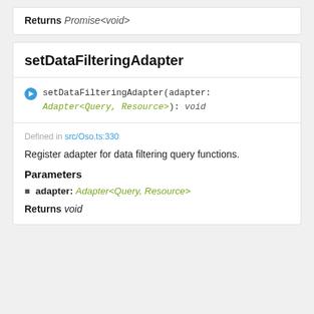Returns Promise<void>
setDataFilteringAdapter
setDataFilteringAdapter(adapter: Adapter<Query, Resource>): void
Defined in src/Oso.ts:330
Register adapter for data filtering query functions.
Parameters
adapter: Adapter<Query, Resource>
Returns void